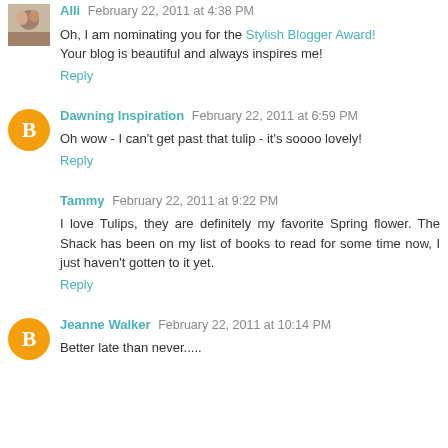Alli  February 22, 2011 at 4:38 PM
Oh, I am nominating you for the Stylish Blogger Award! Your blog is beautiful and always inspires me!
Reply
Dawning Inspiration  February 22, 2011 at 6:59 PM
Oh wow - I can't get past that tulip - it's soooo lovely!
Reply
Tammy  February 22, 2011 at 9:22 PM
I love Tulips, they are definitely my favorite Spring flower. The Shack has been on my list of books to read for some time now, I just haven't gotten to it yet.
Reply
Jeanne Walker  February 22, 2011 at 10:14 PM
Better late than never.....